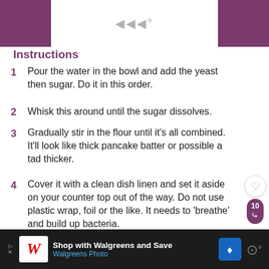Ingredients
1  Pour the water in the bowl and add the yeast then sugar. Do it in this order.
2  Whisk this around until the sugar dissolves.
3  Gradually stir in the flour until it's all combined. It'll look like thick pancake batter or possible a tad thicker.
4  Cover it with a clean dish linen and set it aside on your counter top out of the way. Do not use plastic wrap, foil or the like. It needs to 'breathe' and build up bacteria.
5  Let it go for 24 hours. Really! Just put it in a place warm and let it rest. Just to give you an under-the-covers sneak peek THIS is what's
Shop with Walgreens and Save  Walgreens Photo  WHAT'S NEXT → Sourdough Starter - Day 4